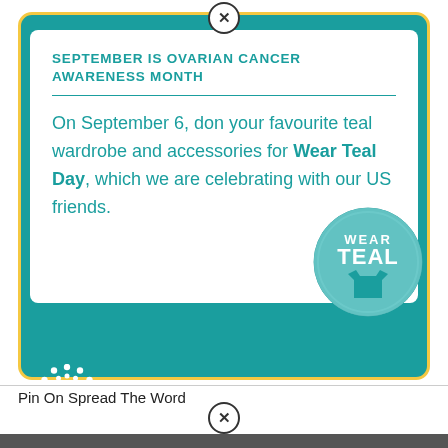SEPTEMBER IS OVARIAN CANCER AWARENESS MONTH
On September 6, don your favourite teal wardrobe and accessories for Wear Teal Day, which we are celebrating with our US friends.
[Figure (logo): Wear Teal circular badge with shirt icon]
[Figure (logo): Ovarian Cancer Canada / Cancer de l'ovaire Canada logo with white floral emblem]
Pin On Spread The Word